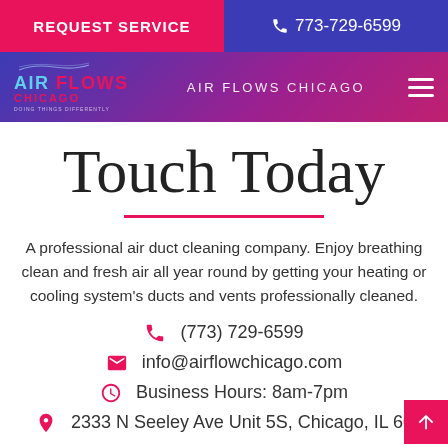REQUEST SERVICE | 773-729-6599
[Figure (logo): Air Flows Chicago logo with navigation bar]
Touch Today
A professional air duct cleaning company. Enjoy breathing clean and fresh air all year round by getting your heating or cooling system's ducts and vents professionally cleaned.
(773) 729-6599
info@airflowchicago.com
Business Hours: 8am-7pm
2333 N Seeley Ave Unit 5S, Chicago, IL 60